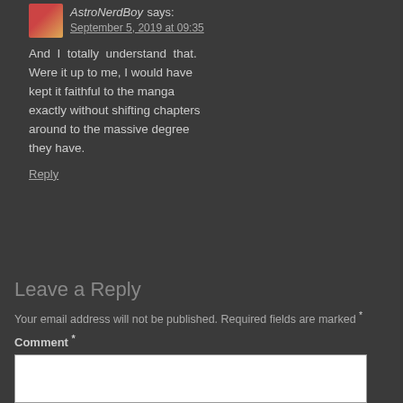AstroNerdBoy says: September 5, 2019 at 09:35
And I totally understand that. Were it up to me, I would have kept it faithful to the manga exactly without shifting chapters around to the massive degree they have.
Reply
Leave a Reply
Your email address will not be published. Required fields are marked *
Comment *